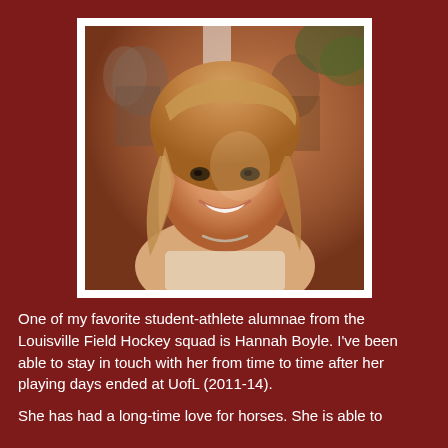[Figure (photo): Portrait photo of Hannah Boyle, a young woman with wavy blonde/auburn hair, smiling, wearing a light-colored top and a thin necklace, photographed outdoors with people visible in the background.]
One of my favorite student-athlete alumnae from the Louisville Field Hockey squad is Hannah Boyle. I've been able to stay in touch with her from time to time after her playing days ended at UofL (2011-14).
She has had a long-time love for horses. She is able to